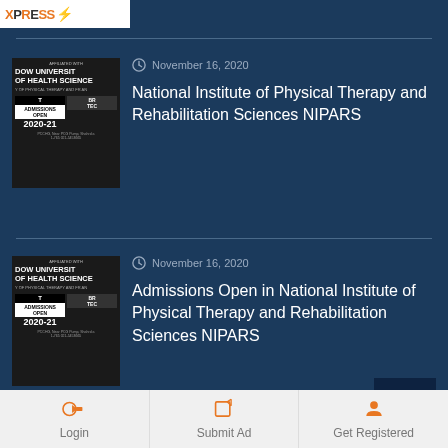[Figure (screenshot): Logo strip at top left with stylized text and orange elements]
[Figure (photo): Thumbnail image of DOW University of Health Sciences admissions open 2020-21 flyer]
November 16, 2020
National Institute of Physical Therapy and Rehabilitation Sciences NIPARS
[Figure (photo): Thumbnail image of DOW University of Health Sciences admissions open 2020-21 flyer]
November 16, 2020
Admissions Open in National Institute of Physical Therapy and Rehabilitation Sciences NIPARS
LATEST NEWS POST
Login
Submit Ad
Get Registered